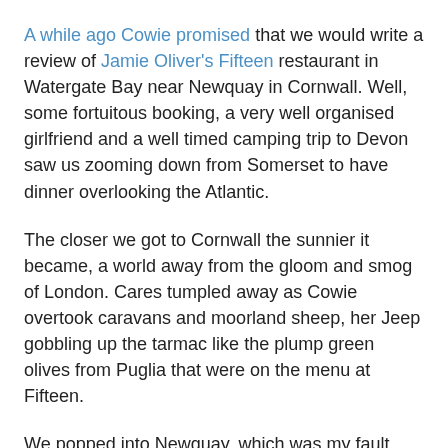A while ago Cowie promised that we would write a review of Jamie Oliver's Fifteen restaurant in Watergate Bay near Newquay in Cornwall. Well, some fortuitous booking, a very well organised girlfriend and a well timed camping trip to Devon saw us zooming down from Somerset to have dinner overlooking the Atlantic.
The closer we got to Cornwall the sunnier it became, a world away from the gloom and smog of London. Cares tumpled away as Cowie overtook caravans and moorland sheep, her Jeep gobbling up the tarmac like the plump green olives from Puglia that were on the menu at Fifteen.
We popped into Newquay, which was my fault entirely. I'd heard people talk about Newquay and wanted to see what all the fuss was about... I don't know why I was expecting good things. It was like the a scene out of John Locke's dystopic comment: "weary, stale, flat, and unprofitable".
We left quickly because we'd got bored of seeing shops